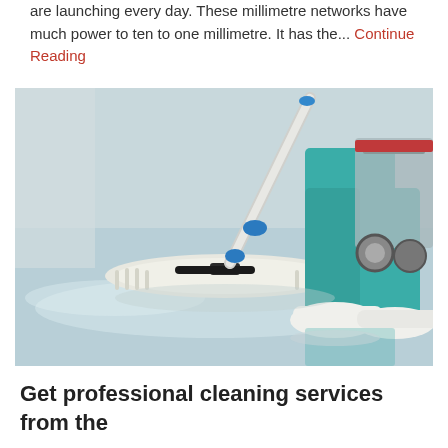are launching every day. These millimetre networks have much power to ten to one millimetre. It has the... Continue Reading
[Figure (photo): A person in teal/green medical scrubs and white shoes mopping a shiny reflective floor with a blue and white flat mop and a cleaning cart visible in the background.]
Get professional cleaning services from the